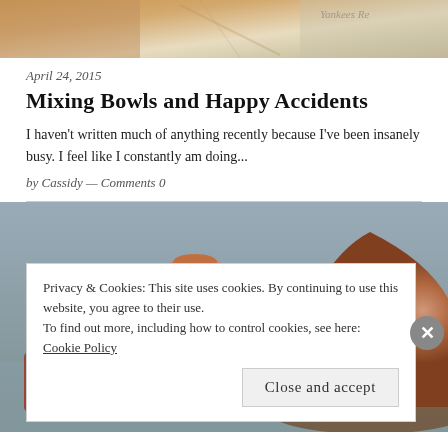[Figure (photo): Top portion of a blog post photo showing newspapers and objects on a table]
April 24, 2015
Mixing Bowls and Happy Accidents
I haven't written much of anything recently because I've been insanely busy. I feel like I constantly am doing...
by Cassidy — Comments 0
[Figure (photo): Photo of terracotta/wooden bowl or pottery pieces on a grey surface]
Privacy & Cookies: This site uses cookies. By continuing to use this website, you agree to their use.
To find out more, including how to control cookies, see here:
Cookie Policy
Close and accept